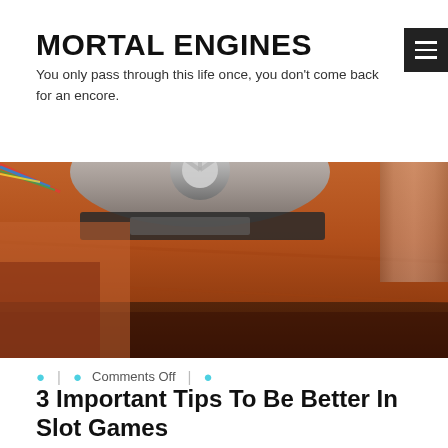MORTAL ENGINES
You only pass through this life once, you don't come back for an encore.
[Figure (photo): Close-up photo of a roulette wheel with a warm brown/orange wooden surface and metallic chrome elements, blurred in the foreground.]
Comments Off
3 Important Tips To Be Better In Slot Games
Casino is becoming widespread these days and many countries are making lots of income from challenging it